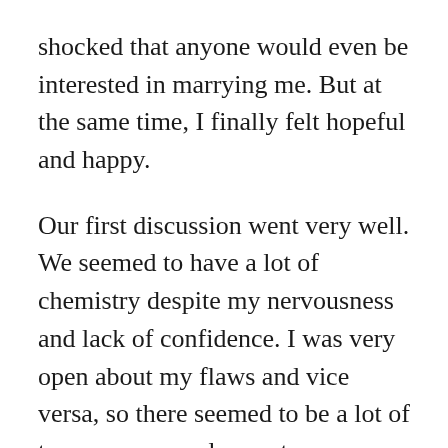shocked that anyone would even be interested in marrying me. But at the same time, I finally felt hopeful and happy.

Our first discussion went very well. We seemed to have a lot of chemistry despite my nervousness and lack of confidence. I was very open about my flaws and vice versa, so there seemed to be a lot of transparency and acceptance on both ends. What didn’t occur to me at the time, and what I would learn later, was that my future spouse was actually measuring me for vulnerabilities that they could exploit. Like a predator seeking out